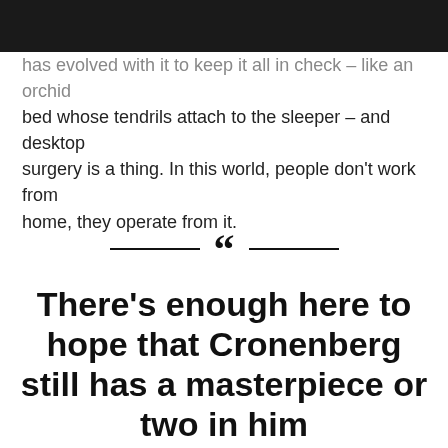has evolved with it to keep it all in check – like an orchid bed whose tendrils attach to the sleeper – and desktop surgery is a thing. In this world, people don't work from home, they operate from it.
““ There’s enough here to hope that Cronenberg still has a masterpiece or two in him ””